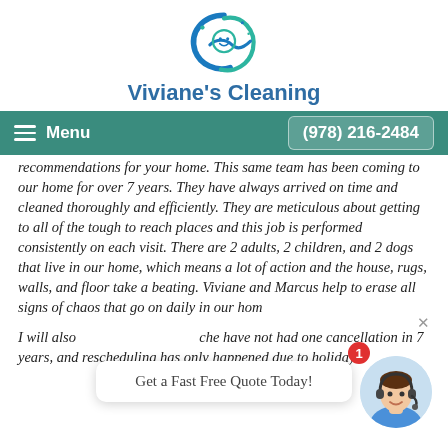[Figure (logo): Viviane's Cleaning logo — stylized blue/teal circular swoosh with a face/smile graphic]
Viviane's Cleaning
Menu   (978) 216-2484
...recommendations for your home. This same team has been coming to our home for over 7 years. They have always arrived on time and cleaned thoroughly and efficiently. They are meticulous about getting to all of the tough to reach places and this job is performed consistently on each visit. There are 2 adults, 2 children, and 2 dogs that live in our home, which means a lot of action and the house, rugs, walls, and floor take a beating. Viviane and Marcus help to erase all signs of chaos that go on daily in our hom...
I will also... ...have not had one cancellation in 7 years, and rescheduling has only happened due to holidays...
Get a Fast Free Quote Today!